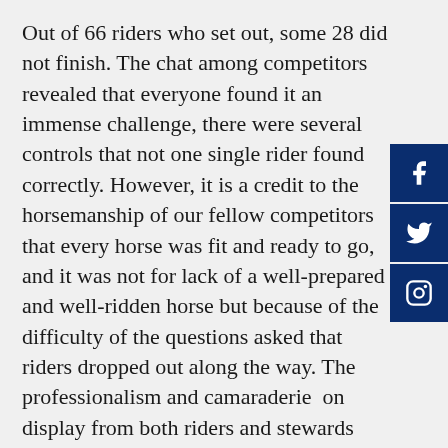Out of 66 riders who set out, some 28 did not finish. The chat among competitors revealed that everyone found it an immense challenge, there were several controls that not one single rider found correctly. However, it is a credit to the horsemanship of our fellow competitors that every horse was fit and ready to go, and it was not for lack of a well-prepared and well-ridden horse but because of the difficulty of the questions asked that riders dropped out along the way. The professionalism and camaraderie  on display from both riders and stewards made this one of the best, most exciting and rewarding events I have ever taken part in. As we drove home along the autoroute back towards dreary reality, all three of us mourned the fact it was over for now, but we have plans to return next year for more beautiful, tortuous nighttime adventure. We all feel we have learned a lot and grown as navigators and problem solvers, and all in the most enjoyable if a bit difficult of circumstances